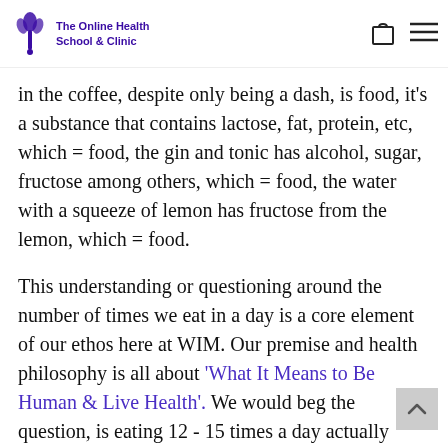The Online Health School & Clinic
in the coffee, despite only being a dash, is food, it's a substance that contains lactose, fat, protein, etc, which = food, the gin and tonic has alcohol, sugar, fructose among others, which = food, the water with a squeeze of lemon has fructose from the lemon, which = food.
This understanding or questioning around the number of times we eat in a day is a core element of our ethos here at WIM. Our premise and health philosophy is all about 'What It Means to Be Human & Live Health'. We would beg the question, is eating 12 - 15 times a day actually normal for